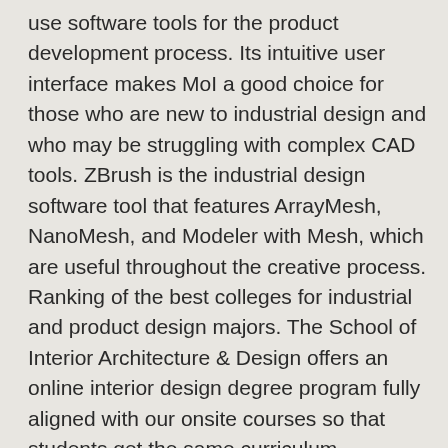use software tools for the product development process. Its intuitive user interface makes MoI a good choice for those who are new to industrial design and who may be struggling with complex CAD tools. ZBrush is the industrial design software tool that features ArrayMesh, NanoMesh, and Modeler with Mesh, which are useful throughout the creative process. Ranking of the best colleges for industrial and product design majors. The School of Interior Architecture & Design offers an online interior design degree program fully aligned with our onsite courses so that students get the same curriculum, regardless of the campus. Have you visited the Open Day and are you almost certain that this is the programme for you? The MasterвЂ™s programme in Industrial Design focuses on three themes: Living and Behaviour, Form and Technology, or Man and Nature. Add to List Get Admissions Info. Through a robust and well-established online education program, the AcademyвЂ™s